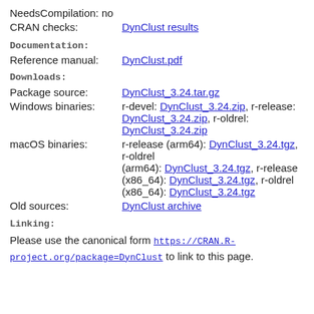NeedsCompilation: no
CRAN checks: DynClust results
Documentation:
Reference manual: DynClust.pdf
Downloads:
Package source: DynClust_3.24.tar.gz
Windows binaries: r-devel: DynClust_3.24.zip, r-release: DynClust_3.24.zip, r-oldrel: DynClust_3.24.zip
macOS binaries: r-release (arm64): DynClust_3.24.tgz, r-oldrel (arm64): DynClust_3.24.tgz, r-release (x86_64): DynClust_3.24.tgz, r-oldrel (x86_64): DynClust_3.24.tgz
Old sources: DynClust archive
Linking:
Please use the canonical form https://CRAN.R-project.org/package=DynClust to link to this page.